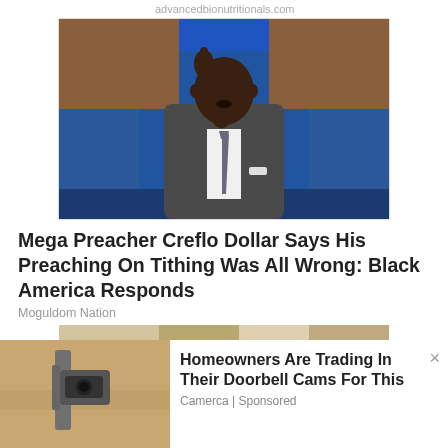advancedbionutritionals.com
[Figure (photo): Man in grey suit with raised index finger speaking at a podium or stage, blue and brown background]
Mega Preacher Creflo Dollar Says His Preaching On Tithing Was All Wrong: Black America Responds
Moguldom Nation
[Figure (photo): Partial image below the article, appears to be an outdoor scene]
[Figure (photo): Advertisement image showing a security camera mounted on a wall]
Homeowners Are Trading In Their Doorbell Cams For This
Camerca | Sponsored